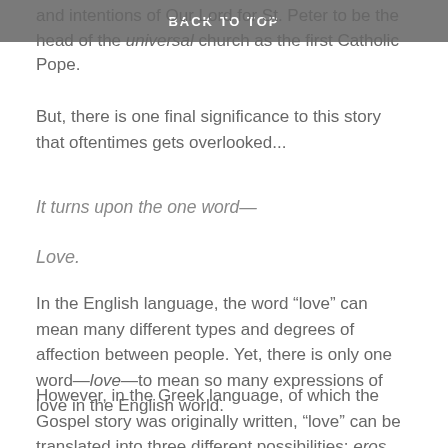BACK TO TOP
and intentions of Our Lord for St. Peter to be the head of the universal church as the first Catholic Pope.
But, there is one final significance to this story that oftentimes gets overlooked...
It turns upon the one word—
Love.
In the English language, the word “love” can mean many different types and degrees of affection between people. Yet, there is only one word—love—to mean so many expressions of love in the English world.
However, in the Greek language, of which the Gospel story was originally written, “love” can be translated into three different possibilities: eros (passionate love), philia (friendship or brotherly love) or agape (unconditional and